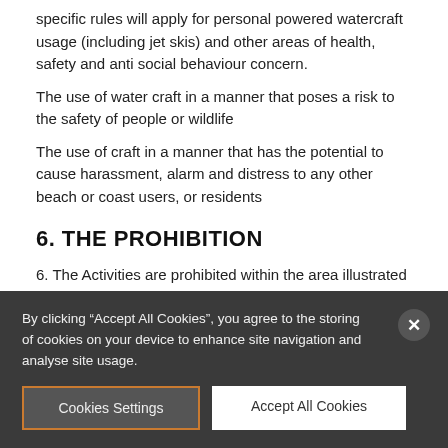specific rules will apply for personal powered watercraft usage (including jet skis) and other areas of health, safety and anti social behaviour concern.
The use of water craft in a manner that poses a risk to the safety of people or wildlife
The use of craft in a manner that has the potential to cause harassment, alarm and distress to any other beach or coast users, or residents
6. THE PROHIBITION
6. The Activities are prohibited within the area illustrated in the
By clicking “Accept All Cookies”, you agree to the storing of cookies on your device to enhance site navigation and analyse site usage.
Cookies Settings
Accept All Cookies